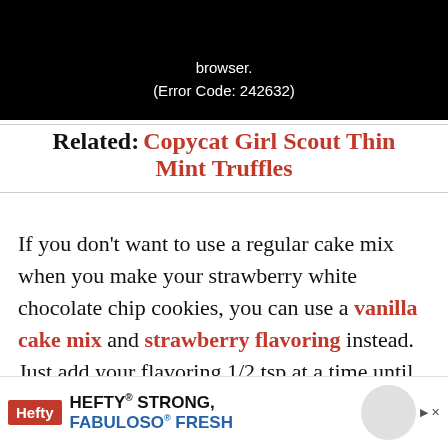[Figure (screenshot): Video player error screen showing black background with white text: 'browser.' and '(Error Code: 242632)']
Related: Copycat Girl Scout Thin Mint Truffles
If you don’t want to use a regular cake mix when you make your strawberry white chocolate chip cookies, you can use a vanilla cake mix and strawberry flavoring instead. Just add your flavoring 1/2 tsp at a time until you get a flavor that you like. I use a gluten free cake mix when I’m making a batch for a friend who is [gluten intolerant/careful]
[Figure (advertisement): Hefty brand advertisement: HEFTY STRONG, FABULOSO FRESH with Hefty and Fabuloso logos]